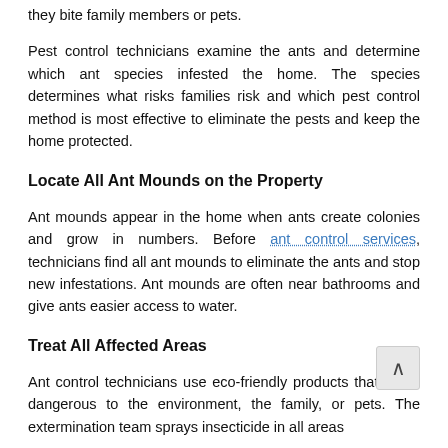they bite family members or pets.
Pest control technicians examine the ants and determine which ant species infested the home. The species determines what risks families risk and which pest control method is most effective to eliminate the pests and keep the home protected.
Locate All Ant Mounds on the Property
Ant mounds appear in the home when ants create colonies and grow in numbers. Before ant control services, technicians find all ant mounds to eliminate the ants and stop new infestations. Ant mounds are often near bathrooms and give ants easier access to water.
Treat All Affected Areas
Ant control technicians use eco-friendly products that aren't dangerous to the environment, the family, or pets. The extermination team sprays insecticide in all areas